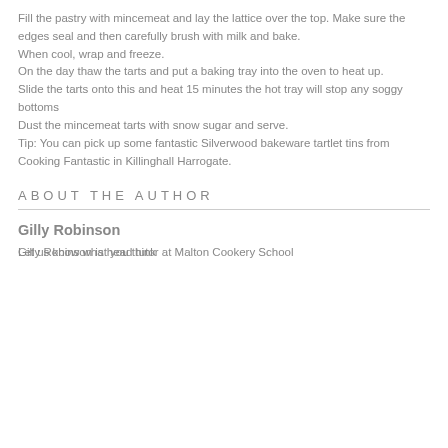Fill the pastry with mincemeat and lay the lattice over the top. Make sure the edges seal and then carefully brush with milk and bake. When cool, wrap and freeze. On the day thaw the tarts and put a baking tray into the oven to heat up. Slide the tarts onto this and heat 15 minutes the hot tray will stop any soggy bottoms Dust the mincemeat tarts with snow sugar and serve. Tip: You can pick up some fantastic Silverwood bakeware tartlet tins from Cooking Fantastic in Killinghall Harrogate.
ABOUT THE AUTHOR
Gilly Robinson
Gilly Robinson is head tutor at Malton Cookery School
Let us know what you think